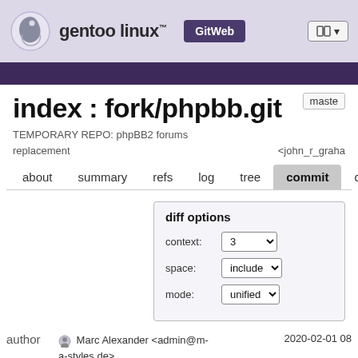gentoo linux™ GitWeb
index : fork/phpbb.git
TEMPORARY REPO: phpBB2 forums replacement
<john_r_graha
about  summary  refs  log  tree  commit  diff
diff options
| Option | Value |
| --- | --- |
| context: | 3 |
| space: | include |
| mode: | unified |
author  Marc Alexander <admin@m-a-styles.de>  2020-02-01 08